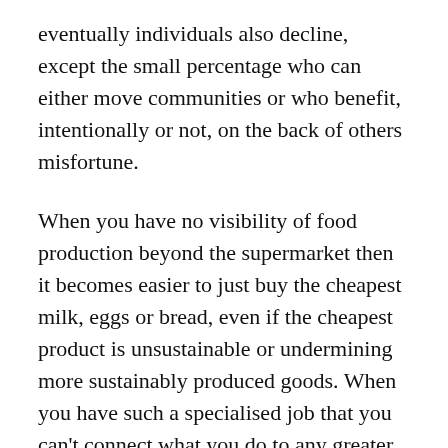eventually individuals also decline, except the small percentage who can either move communities or who benefit, intentionally or not, on the back of others misfortune.
When you have no visibility of food production beyond the supermarket then it becomes easier to just buy the cheapest milk, eggs or bread, even if the cheapest product is unsustainable or undermining more sustainably produced goods. When you have such a specialised job that you can't connect what you do to any greater meaning, purpose or value, then it also becomes hard to feel valuable to society, or valued by others. We see this increasingly in highly specialised organisations like large